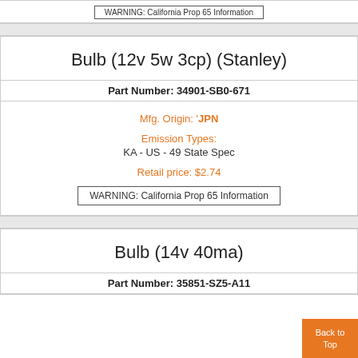WARNING: California Prop 65 Information
Bulb (12v 5w 3cp) (Stanley)
Part Number: 34901-SB0-671
Mfg. Origin: 'JPN
Emission Types:
KA - US - 49 State Spec
Retail price: $2.74
WARNING: California Prop 65 Information
Bulb (14v 40ma)
Part Number: 35851-SZ5-A11